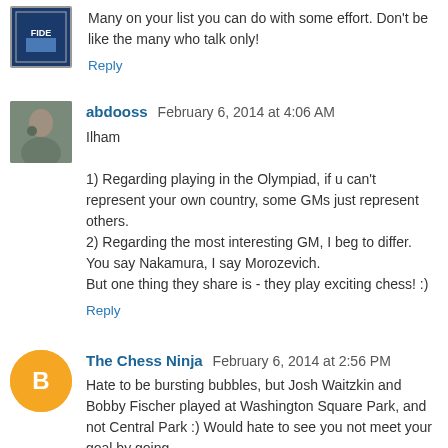Many on your list you can do with some effort. Don't be like the many who talk only!
Reply
abdooss  February 6, 2014 at 4:06 AM
Ilham

1) Regarding playing in the Olympiad, if u can't represent your own country, some GMs just represent others.
2) Regarding the most interesting GM, I beg to differ. You say Nakamura, I say Morozevich.
But one thing they share is - they play exciting chess! :)
Reply
The Chess Ninja  February 6, 2014 at 2:56 PM
Hate to be bursting bubbles, but Josh Waitzkin and Bobby Fischer played at Washington Square Park, and not Central Park :) Would hate to see you not meet your goal by going